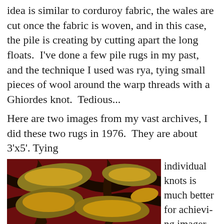idea is similar to corduroy fabric, the wales are cut once the fabric is woven, and in this case, the pile is creating by cutting apart the long floats.  I've done a few pile rugs in my past, and the technique I used was rya, tying small pieces of wool around the warp threads with a Ghiordes knot.  Tedious...
Here are two images from my vast archives, I did these two rugs in 1976.  They are about 3'x5'. Tying individual knots is much better for achieving imager
[Figure (photo): Close-up photograph of a pile rug from 1976 showing abstract organic shapes in golden/amber and dark brown/black tones against a red background, approximately 3x5 feet.]